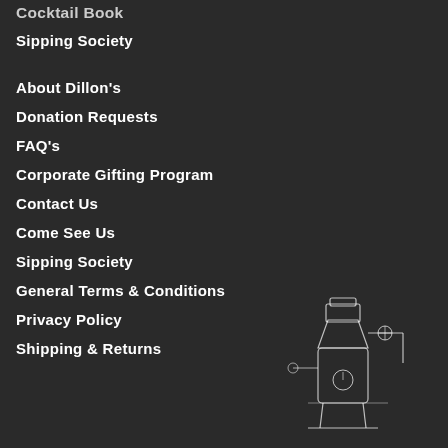Cocktail Book
Sipping Society
About Dillon's
Donation Requests
FAQ's
Corporate Gifting Program
Contact Us
Come See Us
Sipping Society
General Terms & Conditions
Privacy Policy
Shipping & Returns
[Figure (illustration): Line drawing illustration of a distillery still/apparatus in white outline on dark background]